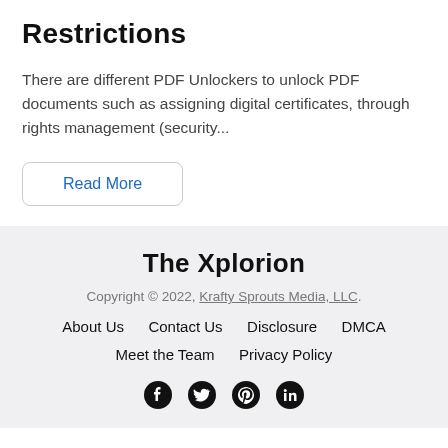Restrictions
There are different PDF Unlockers to unlock PDF documents such as assigning digital certificates, through rights management (security...
Read More
The Xplorion
Copyright © 2022, Krafty Sprouts Media, LLC.
About Us   Contact Us   Disclosure   DMCA
Meet the Team   Privacy Policy
[Figure (other): Social media icons: Facebook, Twitter, Pinterest, LinkedIn]